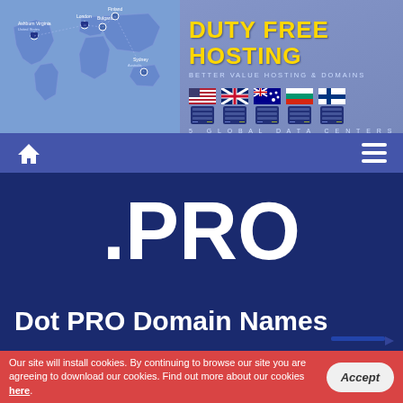[Figure (screenshot): Duty Free Hosting website screenshot showing world map with server locations, brand logo, navigation bar, .PRO domain name page heading, and cookie consent banner]
DUTY FREE HOSTING — BETTER VALUE HOSTING & DOMAINS — 5 GLOBAL DATA CENTERS
.PRO
Dot PRO Domain Names
Our site will install cookies. By continuing to browse our site you are agreeing to download our cookies. Find out more about our cookies here.